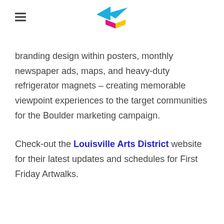[logo + hamburger menu]
branding design within posters, monthly newspaper ads, maps, and heavy-duty refrigerator magnets – creating memorable viewpoint experiences to the target communities for the Boulder marketing campaign.
Check-out the Louisville Arts District website for their latest updates and schedules for First Friday Artwalks.